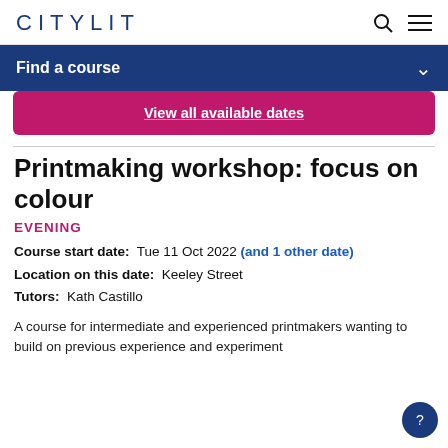CITYLIT
Find a course
View all available dates
Printmaking workshop: focus on colour
EVENING
Course start date:  Tue 11 Oct 2022 (and 1 other date)
Location on this date:  Keeley Street
Tutors:  Kath Castillo
A course for intermediate and experienced printmakers wanting to build on previous experience and experiment with new processes, disciplines and to consolidate skills. Th...